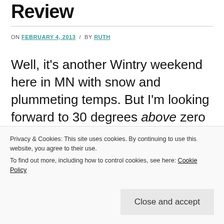Review
ON FEBRUARY 4, 2013 / BY RUTH
Well, it's another Wintry weekend here in MN with snow and plummeting temps. But I'm looking forward to 30 degrees above zero this week, ahah.
Well, it's relatively unproductive as I only saw
Privacy & Cookies: This site uses cookies. By continuing to use this website, you agree to their use.
To find out more, including how to control cookies, see here: Cookie Policy